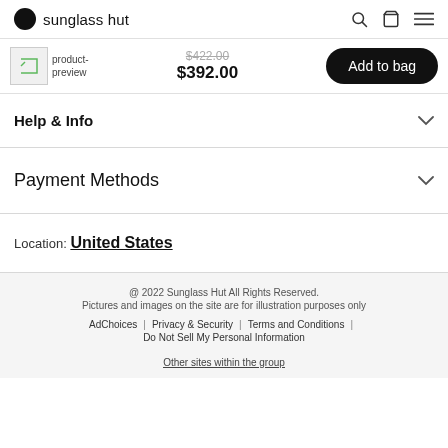sunglass hut
product-preview $422.00 $392.00 Add to bag
Help & Info
Payment Methods
Location: United States
@ 2022 Sunglass Hut All Rights Reserved. Pictures and images on the site are for illustration purposes only
AdChoices | Privacy & Security | Terms and Conditions | Do Not Sell My Personal Information
Other sites within the group